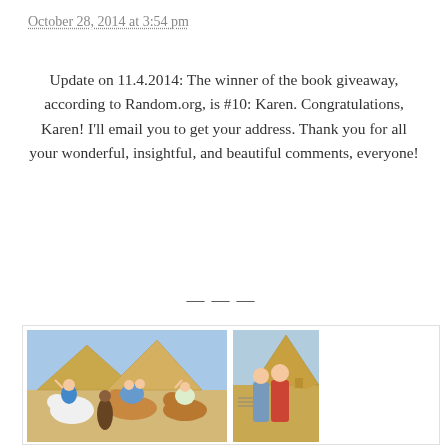October 28, 2014 at 3:54 pm
Update on 11.4.2014: The winner of the book giveaway, according to Random.org, is #10: Karen. Congratulations, Karen! I'll email you to get your address. Thank you for all your wonderful, insightful, and beautiful comments, everyone!
———
[Figure (photo): Two photos side by side: Left photo shows a family group riding camels and horses in front of Egyptian pyramids, waving at camera. Right photo shows a couple standing in front of the Great Pyramid of Giza and the Sphinx.]